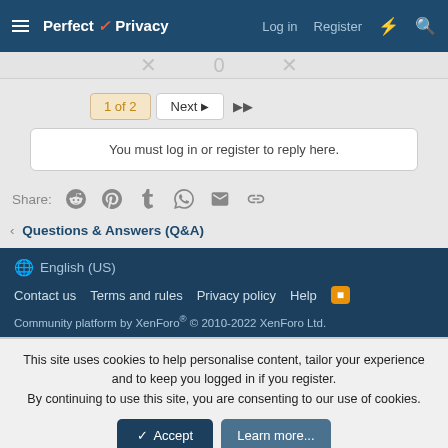Perfect Privacy — Log in  Register
1 of 2  Next  ▶▶
You must log in or register to reply here.
Share: Reddit Pinterest Tumblr WhatsApp Email Link
< Questions & Answers (Q&A)
🌐 English (US)
Contact us  Terms and rules  Privacy policy  Help  [RSS]
Community platform by XenForo® © 2010-2022 XenForo Ltd.
This site uses cookies to help personalise content, tailor your experience and to keep you logged in if you register.
By continuing to use this site, you are consenting to our use of cookies.
[✓ Accept]  [Learn more...]